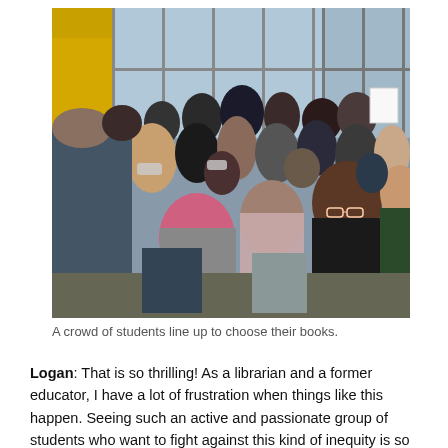[Figure (photo): A crowd of students packed in a school lobby or hallway area with yellow walls and large windows, lining up, some wearing masks, some holding signs. A young woman with pink hair in foreground, another young woman with curly hair and glasses in center-right.]
A crowd of students line up to choose their books.
Logan: That is so thrilling! As a librarian and a former educator, I have a lot of frustration when things like this happen. Seeing such an active and passionate group of students who want to fight against this kind of inequity is so exciting and inspiring and it is a great lot of heart to have as we inspire to become great.